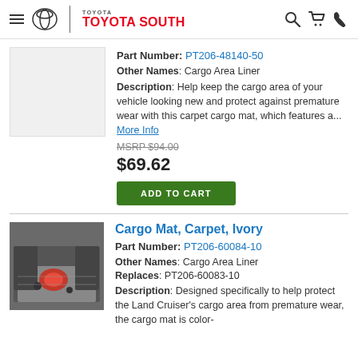Toyota South — navigation header with menu, logo, search, cart, and phone icons
Part Number: PT206-48140-50
Other Names: Cargo Area Liner
Description: Help keep the cargo area of your vehicle looking new and protect against premature wear with this carpet cargo mat, which features a... More Info
MSRP $94.00
$69.62
ADD TO CART
Cargo Mat, Carpet, Ivory
Part Number: PT206-60084-10
Other Names: Cargo Area Liner
Replaces: PT206-60083-10
Description: Designed specifically to help protect the Land Cruiser's cargo area from premature wear, the cargo mat is color-